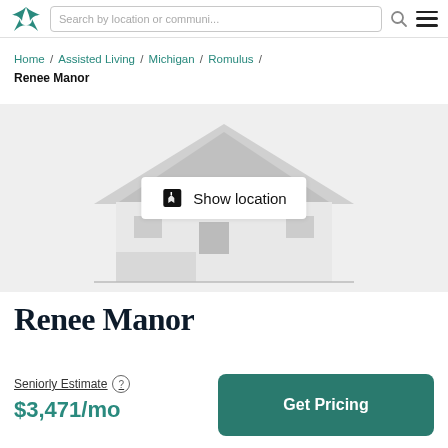Search by location or communi...
Home / Assisted Living / Michigan / Romulus / Renee Manor
[Figure (illustration): House illustration placeholder with Show location button overlay]
Renee Manor
Seniorly Estimate
$3,471/mo
Get Pricing